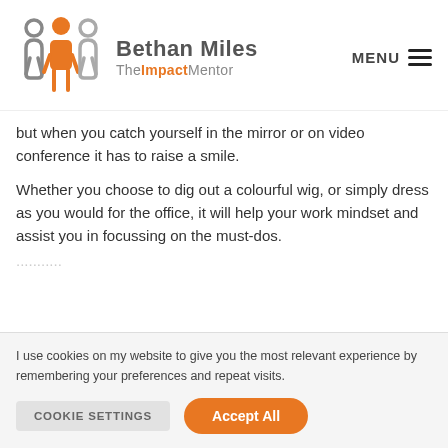[Figure (logo): Three figures silhouette logo — two grey figures flanking one orange figure — representing The Impact Mentor brand logo]
Bethan Miles TheImpactMentor
but when you catch yourself in the mirror or on video conference it has to raise a smile.
Whether you choose to dig out a colourful wig, or simply dress as you would for the office, it will help your work mindset and assist you in focussing on the must-dos.
I use cookies on my website to give you the most relevant experience by remembering your preferences and repeat visits.